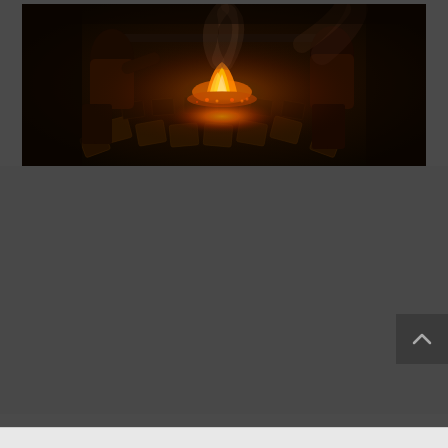[Figure (photo): Dark atmospheric photograph of people gathered around a fire or flame in a dimly lit space. The scene shows glowing embers and flames in the center with smoke rising, silhouettes of people around the fire, and square/diamond-shaped objects arranged on the floor. The image is predominantly dark with warm orange and red tones from the fire illuminating the scene.]
[Figure (other): Dark gray empty area below the photograph, with a small dark scroll-to-top button with an upward caret arrow in the bottom-right corner.]